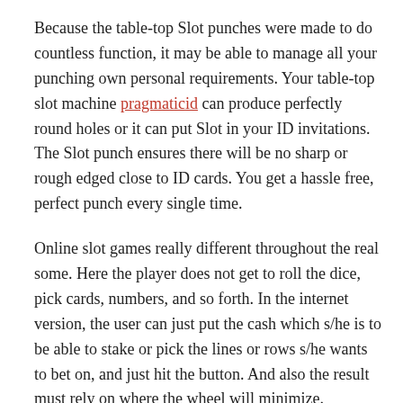Because the table-top Slot punches were made to do countless function, it may be able to manage all your punching own personal requirements. Your table-top slot machine pragmaticid can produce perfectly round holes or it can put Slot in your ID invitations. The Slot punch ensures there will be no sharp or rough edged close to ID cards. You get a hassle free, perfect punch every single time.
Online slot games really different throughout the real some. Here the player does not get to roll the dice, pick cards, numbers, and so forth. In the internet version, the user can just put the cash which s/he is to be able to stake or pick the lines or rows s/he wants to bet on, and just hit the button. And also the result must rely on where the wheel will minimize.
Many people say it’s quite in order to understand become obsessed with gambling, particularly with the ease and